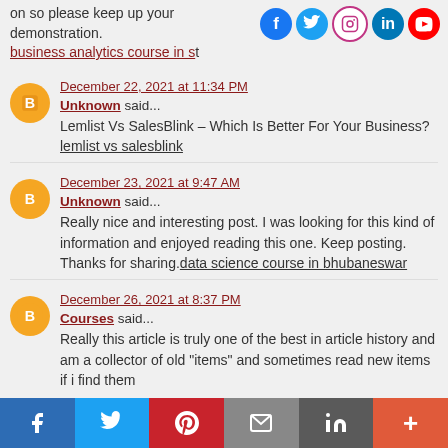on so please keep up your demonstration. business analytics course in s... [link]
December 22, 2021 at 11:34 PM
Unknown said...
Lemlist Vs SalesBlink – Which Is Better For Your Business? lemlist vs salesblink
December 23, 2021 at 9:47 AM
Unknown said...
Really nice and interesting post. I was looking for this kind of information and enjoyed reading this one. Keep posting. Thanks for sharing. data science course in bhubaneswar
December 26, 2021 at 8:37 PM
Courses said...
Really this article is truly one of the best in article history and am a collector of old "items" and sometimes read new items if i find them
f  Twitter  Pinterest  Email  in  +